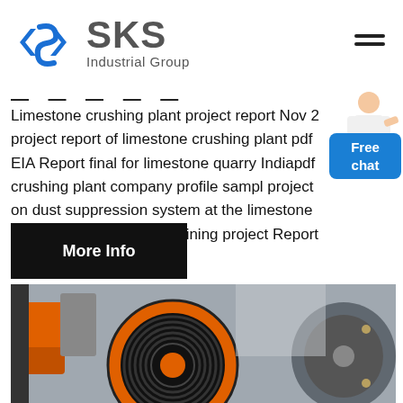[Figure (logo): SKS Industrial Group logo with blue diamond S icon and grey SKS text]
Limestone crushing plant project report Nov 2 project report of limestone crushing plant pdf EIA Report final for limestone quarry Indiapdf crushing plant company profile sampl project on dust suppression system at the limestone crusher plant limestone mining project Report to the
[Figure (photo): Free chat button with person illustration]
[Figure (photo): More Info black button]
[Figure (photo): Close-up photo of industrial crusher machinery with orange and black components]